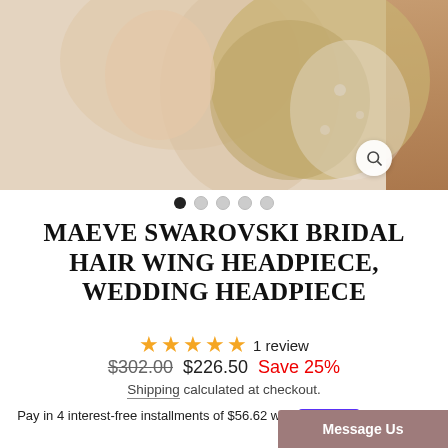[Figure (photo): Bride with blonde updo hair and lace wedding dress, close-up portrait photo used as product image for a bridal hair headpiece]
MAEVE SWAROVSKI BRIDAL HAIR WING HEADPIECE, WEDDING HEADPIECE
★★★★★ 1 review
$302.00  $226.50  Save 25%
Shipping calculated at checkout.
Pay in 4 interest-free installments of $56.62 with Shop Pay  Learn more